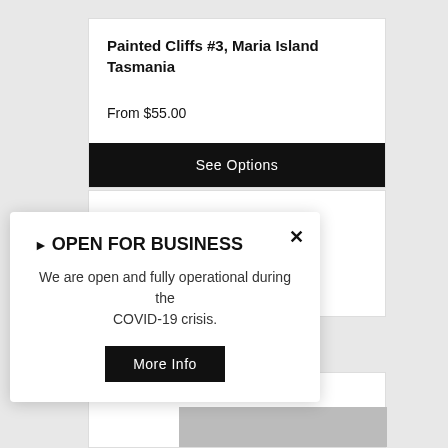Painted Cliffs #3, Maria Island Tasmania
From $55.00
See Options
Lacepede Islands
From $95.00
▶ OPEN FOR BUSINESS
We are open and fully operational during the COVID-19 crisis.
More Info